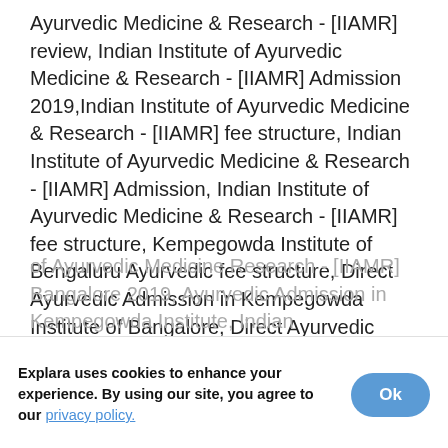Ayurvedic Medicine & Research - [IIAMR] review, Indian Institute of Ayurvedic Medicine & Research - [IIAMR] Admission 2019,Indian Institute of Ayurvedic Medicine & Research - [IIAMR] fee structure, Indian Institute of Ayurvedic Medicine & Research - [IIAMR] Admission, Indian Institute of Ayurvedic Medicine & Research - [IIAMR] fee structure, Kempegowda Institute of Bengaluru Ayurvedic fee structure, Direct Ayurvedic Admission in Kempegowda Institute of Bangalore, Direct Ayurvedic Admission in Kempegowda Institute of 2019, Direct Ayurvedic Admission in Kempegowda Institute of Bangalore 2019, Ayurvedic Admission in Indian Institute of Ayurvedic Medicine & Research - [IIAMR], Ayurvedic Admission in Indian Institute of Ayurvedic Medicine & Research - [IIAMR] Bangalore, Ayurvedic Admission in Indian Institute of Ayurvedic Medicine & Research - [IIAMR] 2019, Ayurvedic
of Ayurvedic Medicine Research - [IIAMR] Bangalore 2019, Ayurvedic Admission in Kempegowda Institute, Indian
Explara uses cookies to enhance your experience. By using our site, you agree to our privacy policy.